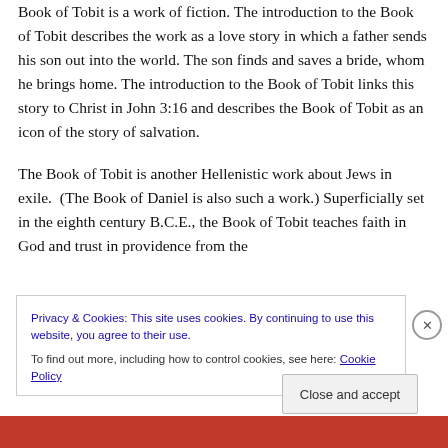Book of Tobit is a work of fiction.  The introduction to the Book of Tobit describes the work as a love story in which a father sends his son out into the world.  The son finds and saves a bride, whom he brings home.  The introduction to the Book of Tobit links this story to Christ in John 3:16 and describes the Book of Tobit as an icon of the story of salvation.
The Book of Tobit is another Hellenistic work about Jews in exile.  (The Book of Daniel is also such a work.)  Superficially set in the eighth century B.C.E., the Book of Tobit teaches faith in God and trust in providence from the
Privacy & Cookies: This site uses cookies. By continuing to use this website, you agree to their use.
To find out more, including how to control cookies, see here: Cookie Policy